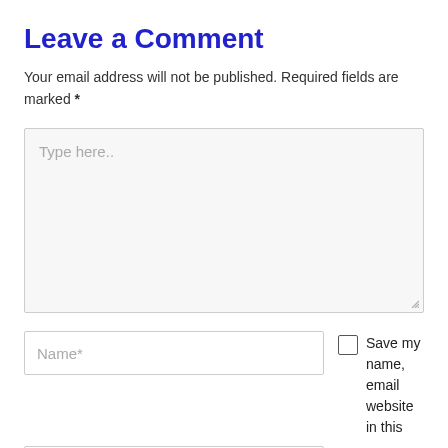Leave a Comment
Your email address will not be published. Required fields are marked *
[Figure (screenshot): Large text input area with placeholder text 'Type here..' and a resize handle at bottom right]
[Figure (screenshot): Name input field with placeholder 'Name*', a checkbox with label 'Save my name, email website in this', and a blue scroll-to-top button with an up arrow]